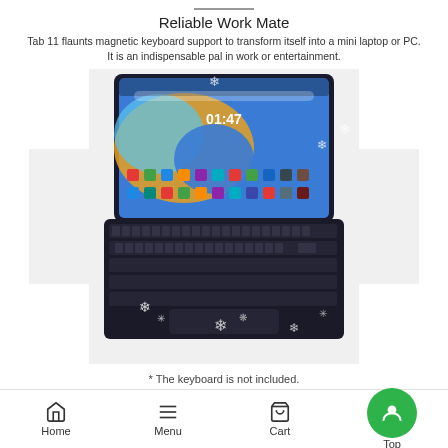Reliable Work Mate
Tab 11 flaunts magnetic keyboard support to transform itself into a mini laptop or PC. It is an indispensable pal in work or entertainment.
[Figure (photo): A tablet with a magnetic keyboard attached, shown in laptop configuration. The tablet displays a colorful Android home screen with the time 01:47. Decorative snowflake overlays appear on the image. A white cross-shaped packaging diagram is visible behind the device.]
* The keyboard is not included.
Home  Menu  Cart  Top